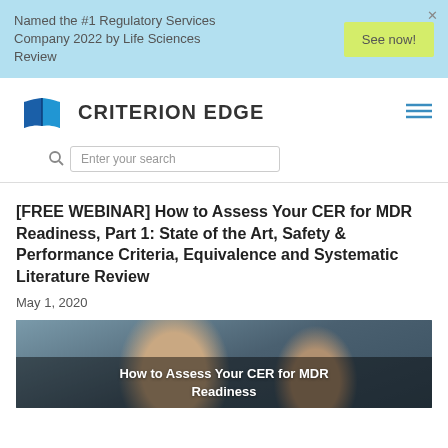Named the #1 Regulatory Services Company 2022 by Life Sciences Review
[Figure (logo): Criterion Edge logo — open book icon in blue with text CRITERION EDGE]
[FREE WEBINAR] How to Assess Your CER for MDR Readiness, Part 1: State of the Art, Safety & Performance Criteria, Equivalence and Systematic Literature Review
May 1, 2020
[Figure (photo): Two people looking at something; overlay text reads: How to Assess Your CER for MDR Readiness]